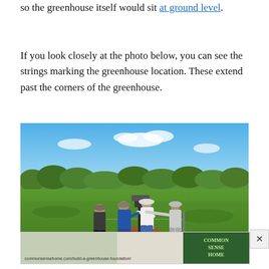so the greenhouse itself would sit at ground level.
If you look closely at the photo below, you can see the strings marking the greenhouse location. These extend past the corners of the greenhouse.
[Figure (photo): Outdoor photograph showing four people working together in a grassy field under a blue sky, operating a post-hole auger/drill to dig holes in the ground. There is disturbed dirt around the drill site. The background shows trees and scrubby vegetation on the horizon.]
[Figure (screenshot): Advertisement banner for Common Sense Home website, showing the URL commonsensehome.com/build-a-greenhouse-foundation/ with a logo and branding for Common Sense Home, along with a close/X button.]